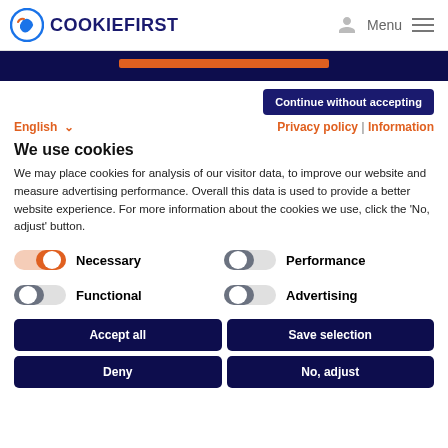COOKIEFIRST   Menu
Continue without accepting
English   Privacy policy | Information
We use cookies
We may place cookies for analysis of our visitor data, to improve our website and measure advertising performance. Overall this data is used to provide a better website experience. For more information about the cookies we use, click the 'No, adjust' button.
Necessary   Performance   Functional   Advertising
Accept all   Save selection   Deny   No, adjust